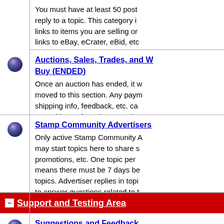You must have at least 50 posts to reply to a topic. This category is for links to items you are selling or links to eBay, eCrater, eBid, etc. to promote your sales.
Auctions, Sales, Trades, and Want to Buy (ENDED)
Once an auction has ended, it will be moved to this section. Any payment, shipping info, feedback, etc. can be posted here. If you have a sale that needs to be moved here, please use the "send note to staff" button on the topic and leave a note.
Stamp Community Advertisers
Only active Stamp Community Advertisers may start topics here to share sales, promotions, etc. One topic per week means there must be 7 days between topics. Advertiser replies in topics are only to answer questions related to the topic only. New sales/specials must be a new topic and comply with the 7 day rule.
- Support and Testing Area
Suggestions and Feedback
Please post any suggestions